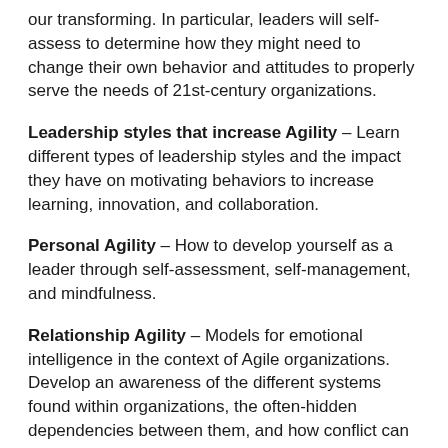our transforming. In particular, leaders will self-assess to determine how they might need to change their own behavior and attitudes to properly serve the needs of 21st-century organizations.
Leadership styles that increase Agility – Learn different types of leadership styles and the impact they have on motivating behaviors to increase learning, innovation, and collaboration.
Personal Agility – How to develop yourself as a leader through self-assessment, self-management, and mindfulness.
Relationship Agility – Models for emotional intelligence in the context of Agile organizations. Develop an awareness of the different systems found within organizations, the often-hidden dependencies between them, and how conflict can arise when they have incongruent agendas.